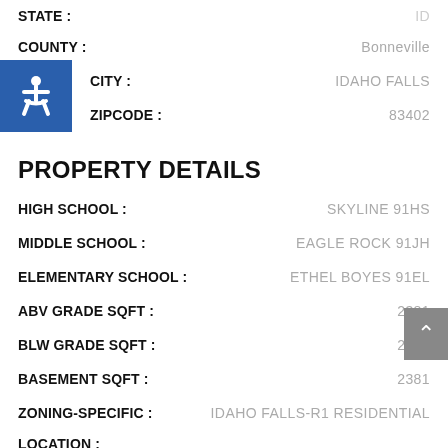STATE : ID
COUNTY : Bonneville
CITY : IDAHO FALLS
ZIPCODE : 83402
PROPERTY DETAILS
HIGH SCHOOL : SKYLINE 91HS
MIDDLE SCHOOL : EAGLE ROCK 91JH
ELEMENTARY SCHOOL : ETHEL BOYES 91EL
ABV GRADE SQFT : 2381
BLW GRADE SQFT : 2381
BASEMENT SQFT : 2381
ZONING-SPECIFIC : IDAHO FALLS-R1 RESIDENTIAL
LOCATION : Near Park,Near Schools,Near Mall/Shop
PROVIDER/OTHER INFO : Idaho Falls Power
CONSTRUCTION/STATUS: Existing